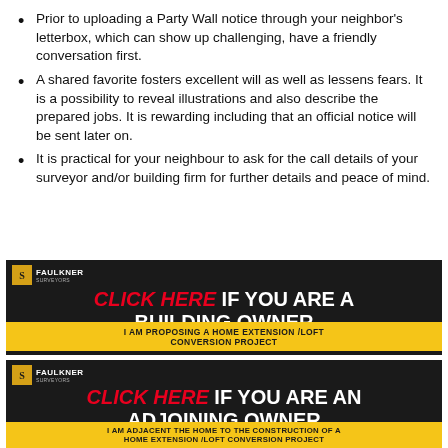Prior to uploading a Party Wall notice through your neighbor's letterbox, which can show up challenging, have a friendly conversation first.
A shared favorite fosters excellent will as well as lessens fears. It is a possibility to reveal illustrations and also describe the prepared jobs. It is rewarding including that an official notice will be sent later on.
It is practical for your neighbour to ask for the call details of your surveyor and/or building firm for further details and peace of mind.
[Figure (infographic): Faulkner logo banner with dark background. Text: CLICK HERE IF YOU ARE A BUILDING OWNER. Subtext on yellow background: I AM PROPOSING A HOME EXTENSION /LOFT CONVERSION PROJECT]
[Figure (infographic): Faulkner logo banner with dark background. Text: CLICK HERE IF YOU ARE AN ADJOINING OWNER. Subtext on yellow background: I AM ADJACENT THE HOME TO THE CONSTRUCTION OF A HOME EXTENSION /LOFT CONVERSION PROJECT]